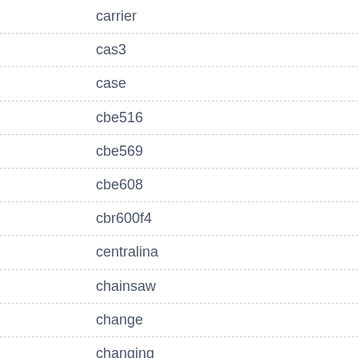carrier
cas3
case
cbe516
cbe569
cbe608
cbr600f4
centralina
chainsaw
change
changing